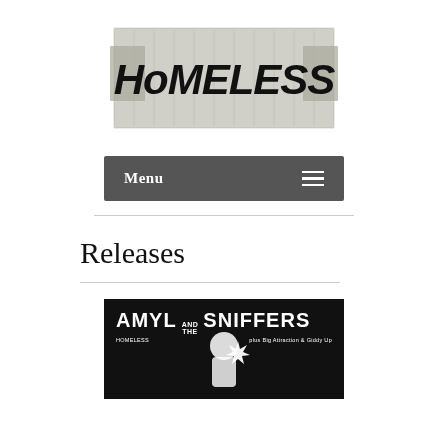[Figure (logo): Homeless Records logo — handwritten 'HoMELESS' text on a crumpled cardboard background in black and white]
Menu ≡
Releases
[Figure (photo): Amyl and the Sniffers album cover — black and white image with artist name at top, featuring a figure at bottom center with a starburst graphic]